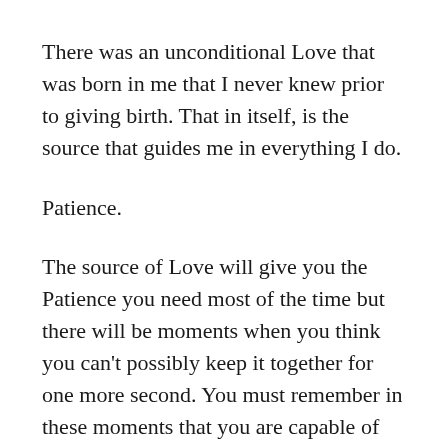There was an unconditional Love that was born in me that I never knew prior to giving birth. That in itself, is the source that guides me in everything I do.
Patience.
The source of Love will give you the Patience you need most of the time but there will be moments when you think you can't possibly keep it together for one more second. You must remember in these moments that you are capable of endurance. You are capable of self control. You can do it. Just breathe deeply. Close your eyes if you can…just for a few seconds.